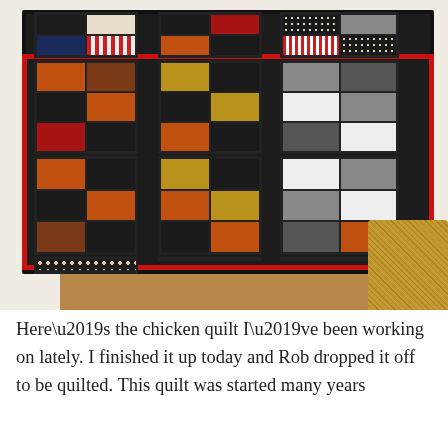[Figure (photo): A patchwork quilt with a black background and a red border stripe, featuring blocks made of various chicken/rooster-themed fabrics in red, orange, brown, white, gray, and gold tones. The quilt is draped over a wooden stand, photographed indoors.]
Here’s the chicken quilt I’ve been working on lately. I finished it up today and Rob dropped it off to be quilted. This quilt was started many years